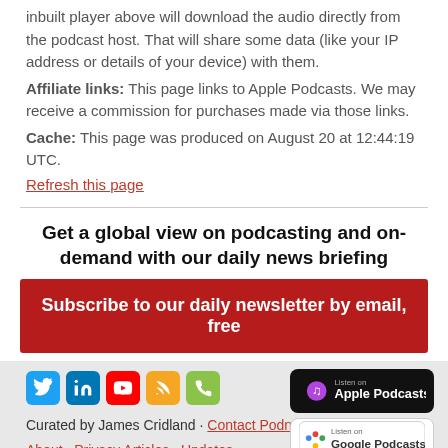inbuilt player above will download the audio directly from the podcast host. That will share some data (like your IP address or details of your device) with them.
Affiliate links: This page links to Apple Podcasts. We may receive a commission for purchases made via those links.
Cache: This page was produced on August 20 at 12:44:19 UTC.
Refresh this page
Get a global view on podcasting and on-demand with our daily news briefing
Subscribe to our daily newsletter by email, free
Curated by James Cridland · Contact Podnews
About · Privacy Articles · Updates
Podjobs - jobs in podcasting and audio
Podevents - podcasting conferences, events